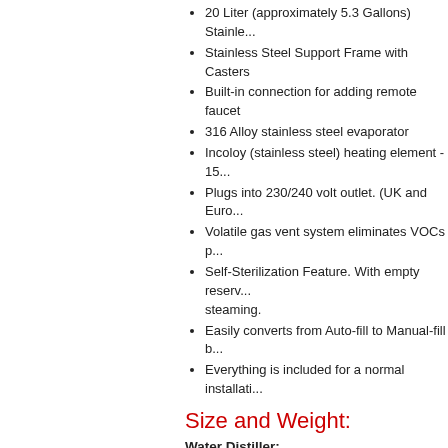20 Liter (approximately 5.3 Gallons) Stainless...
Stainless Steel Support Frame with Casters
Built-in connection for adding remote faucet
316 Alloy stainless steel evaporator
Incoloy (stainless steel) heating element - 15...
Plugs into 230/240 volt outlet. (UK and Euro...)
Volatile gas vent system eliminates VOCs p...
Self-Sterilization Feature. With empty reservoir steaming.
Easily converts from Auto-fill to Manual-fill b...
Everything is included for a normal installation...
Size and Weight:
Water Distiller:
Height: 33 cm
Width: 51 cm
Depth: 33 cm
Shipping Weight: 16 kg
Storage Tank:
Height: 64 cm
Width: 51 cm
Depth: 33 cm
Shipping Weight: 13 kg
Overall Height: (Water Distiller plus Storage Tank total)